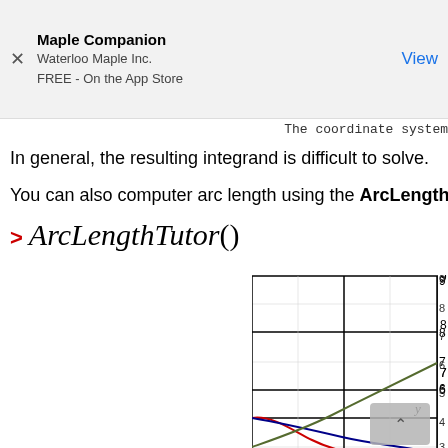[Figure (screenshot): App store advertisement banner for Maple Companion by Waterloo Maple Inc., FREE on the App Store, with a View button]
The coordinate system
In general, the resulting integrand is difficult to solve.
You can also computer arc length using the ArcLengthTutor
[Figure (continuous-plot): A mathematical plot showing multiple curves (red, blue, green/olive) on a grid with y-axis values from approximately 3 to 9 visible, partially cut off on the left and top]